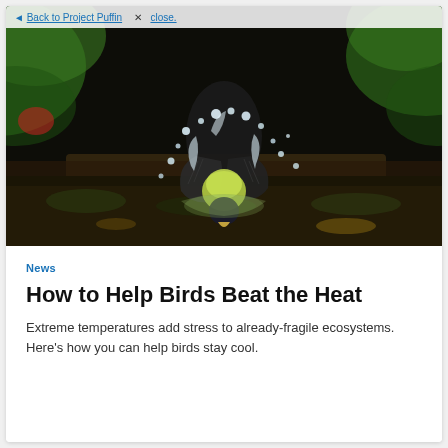← Back to Project Puffin  ✕ close.
[Figure (photo): Close-up photo of a small bird (appears to be a warbler or similar songbird with yellow and dark plumage) bathing in water on a dark mossy surface. Water droplets are splashing dramatically around the bird. Background is blurred green foliage.]
News
How to Help Birds Beat the Heat
Extreme temperatures add stress to already-fragile ecosystems. Here's how you can help birds stay cool.